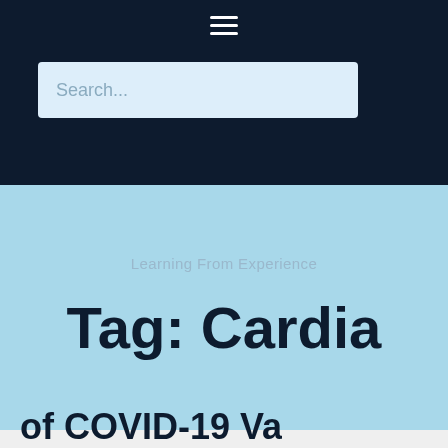≡
Search...
Learning From Experience
Tag: Cardia
of COVID-19 Va